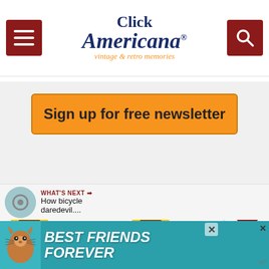Click Americana - vintage & retro memories
Sign up for free newsletter
FYI & THE BASICS
MORE GOOD STUFF
WHAT'S NEXT → How bicycle daredevil....
[Figure (infographic): Advertisement banner: Best Friends Forever with cat image]